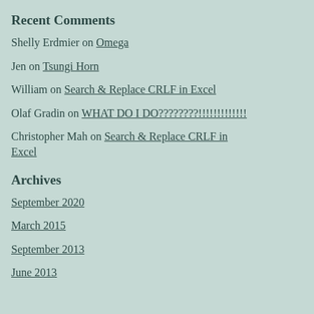Recent Comments
Shelly Erdmier on Omega
Jen on Tsungi Horn
William on Search & Replace CRLF in Excel
Olaf Gradin on WHAT DO I DO????????!!!!!!!!!!!!
Christopher Mah on Search & Replace CRLF in Excel
Archives
September 2020
March 2015
September 2013
June 2013